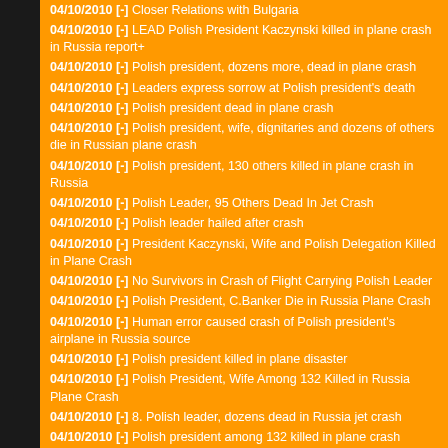04/10/2010 [-] Closer Relations with Bulgaria
04/10/2010 [-] LEAD Polish President Kaczynski killed in plane crash in Russia report+
04/10/2010 [-] Polish president, dozens more, dead in plane crash
04/10/2010 [-] Leaders express sorrow at Polish president's death
04/10/2010 [-] Polish president dead in plane crash
04/10/2010 [-] Polish president, wife, dignitaries and dozens of others die in Russian plane crash
04/10/2010 [-] Polish president, 130 others killed in plane crash in Russia
04/10/2010 [-] Polish Leader, 95 Others Dead In Jet Crash
04/10/2010 [-] Polish leader hailed after crash
04/10/2010 [-] President Kaczynski, Wife and Polish Delegation Killed in Plane Crash
04/10/2010 [-] No Survivors in Crash of Flight Carrying Polish Leader
04/10/2010 [-] Polish President, C.Banker Die in Russia Plane Crash
04/10/2010 [-] Human error caused crash of Polish president's airplane in Russia source
04/10/2010 [-] Polish president killed in plane disaster
04/10/2010 [-] Polish President, Wife Among 132 Killed in Russia Plane Crash
04/10/2010 [-] 8. Polish leader, dozens dead in Russia jet crash
04/10/2010 [-] Polish president among 132 killed in plane crash
04/10/2010 [-] Polish president admired Dalai Lama
04/10/2010 [-] Polish Leader, Dozens More Dead In Jet Crash
04/10/2010 [-] VIDEO Polish president killed in plane crash
04/10/2010 [-] Polish leader dies in plane crash
04/10/2010 [-] Polish president killed in Russia plane crash